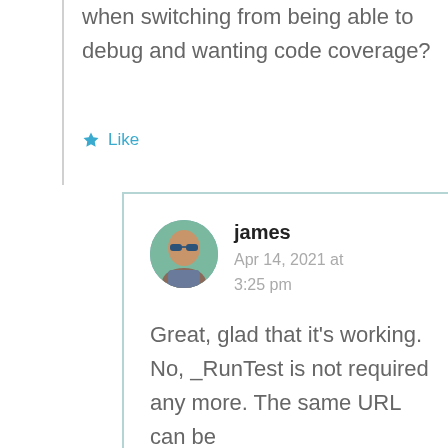when switching from being able to debug and wanting code coverage?
Like
james
Apr 14, 2021 at 3:25 pm
Great, glad that it's working. No, _RunTest is not required any more. The same URL can be